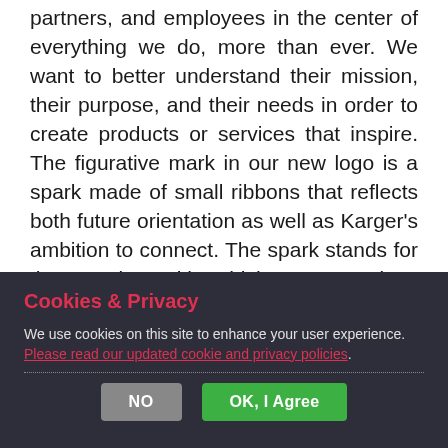partners, and employees in the center of everything we do, more than ever. We want to better understand their mission, their purpose, and their needs in order to create products or services that inspire. The figurative mark in our new logo is a spark made of small ribbons that reflects both future orientation as well as Karger's ambition to connect. The spark stands for the passion with which every project, every job, and every publication starts. To celebrate our anniversary, we have hidden our
Cookies & Privacy
We use cookies on this site to enhance your user experience. Please read our updated cookie and privacy policies.